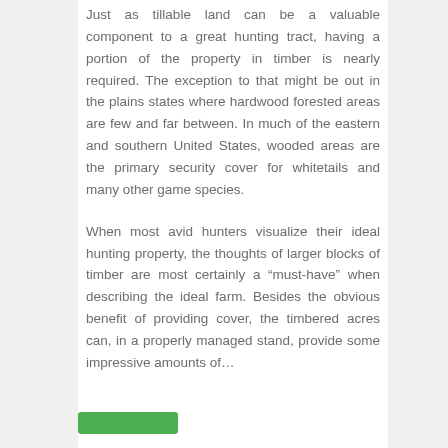Just as tillable land can be a valuable component to a great hunting tract, having a portion of the property in timber is nearly required. The exception to that might be out in the plains states where hardwood forested areas are few and far between. In much of the eastern and southern United States, wooded areas are the primary security cover for whitetails and many other game species.
When most avid hunters visualize their ideal hunting property, the thoughts of larger blocks of timber are most certainly a “must-have” when describing the ideal farm. Besides the obvious benefit of providing cover, the timbered acres can, in a properly managed stand, provide some impressive amounts of…